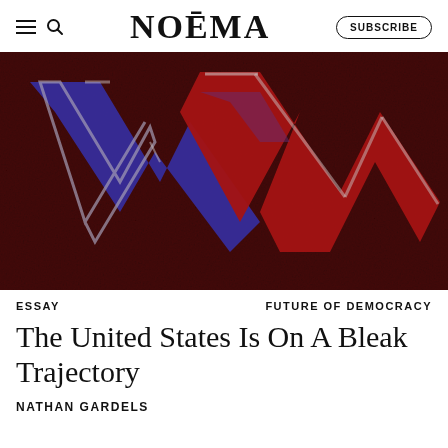NOËMA | SUBSCRIBE
[Figure (photo): Artistic illustration of blue and red downward-pointing zigzag arrows on a dark red textured background, suggesting political or economic decline]
ESSAY | FUTURE OF DEMOCRACY
The United States Is On A Bleak Trajectory
NATHAN GARDELS